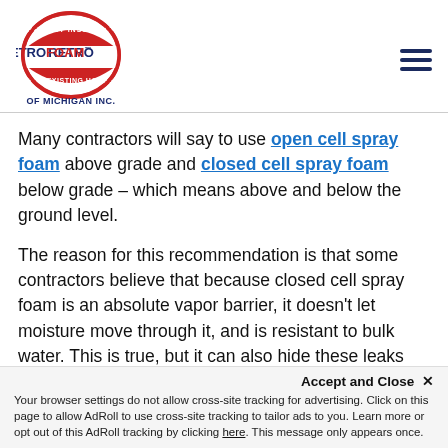[Figure (logo): RetroFoam of Michigan Inc. logo — red shield badge with blue text]
Many contractors will say to use open cell spray foam above grade and closed cell spray foam below grade – which means above and below the ground level.
The reason for this recommendation is that some contractors believe that because closed cell spray foam is an absolute vapor barrier, it doesn't let moisture move through it, and is resistant to bulk water. This is true, but it can also hide these leaks which can cause other issues, including structural damage and mold.
Accept and Close ✕ Your browser settings do not allow cross-site tracking for advertising. Click on this page to allow AdRoll to use cross-site tracking to tailor ads to you. Learn more or opt out of this AdRoll tracking by clicking here. This message only appears once.